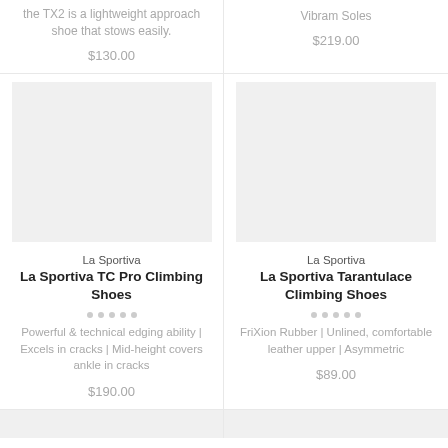the TX2 is a lightweight approach shoe that stows easily.
$130.00
Vibram Soles
$219.00
[Figure (photo): Product image placeholder (left) - gray rectangle]
[Figure (photo): Product image placeholder (right) - gray rectangle]
La Sportiva
La Sportiva TC Pro Climbing Shoes
Powerful & technical edging ability | Excels in cracks | Mid-height covers ankle in cracks
$190.00
La Sportiva
La Sportiva Tarantulace Climbing Shoes
FriXion Rubber | Unlined, comfortable leather upper | Asymmetric
$89.00
[Figure (photo): Product image placeholder bottom-left - gray rectangle]
[Figure (photo): Product image placeholder bottom-right - gray rectangle]